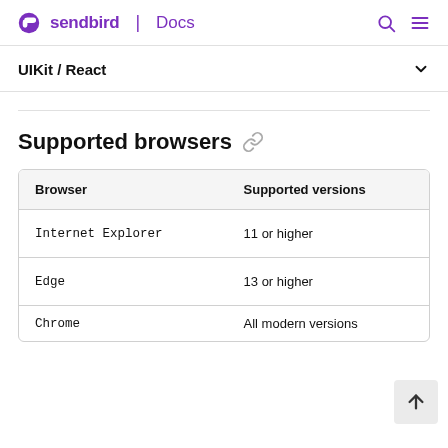sendbird | Docs
UIKit / React
Supported browsers
| Browser | Supported versions |
| --- | --- |
| Internet Explorer | 11 or higher |
| Edge | 13 or higher |
| Chrome | All modern versions |